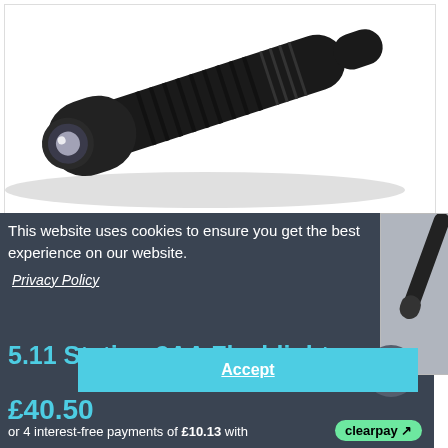[Figure (photo): Black tactical flashlight (5.11 Station 2AA) photographed diagonally on white background, showing lens end and body]
This website uses cookies to ensure you get the best experience on our website.
Privacy Policy
Accept
5.11 Station 2AA Flashlight
£40.50
or 4 interest-free payments of £10.13 with clearpay